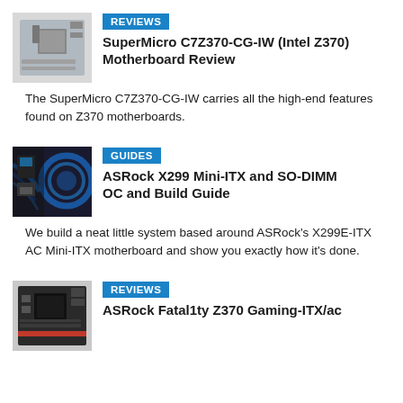[Figure (photo): Photo of SuperMicro C7Z370-CG-IW motherboard, small form factor, grey/black PCB]
REVIEWS
SuperMicro C7Z370-CG-IW (Intel Z370) Motherboard Review
The SuperMicro C7Z370-CG-IW carries all the high-end features found on Z370 motherboards.
[Figure (photo): Photo of a PC build with blue LED lighting and cables inside a case, related to ASRock X299 Mini-ITX]
GUIDES
ASRock X299 Mini-ITX and SO-DIMM OC and Build Guide
We build a neat little system based around ASRock's X299E-ITX AC Mini-ITX motherboard and show you exactly how it's done.
[Figure (photo): Photo of ASRock Fatal1ty Z370 Gaming-ITX/ac motherboard, black PCB]
REVIEWS
ASRock Fatal1ty Z370 Gaming-ITX/ac